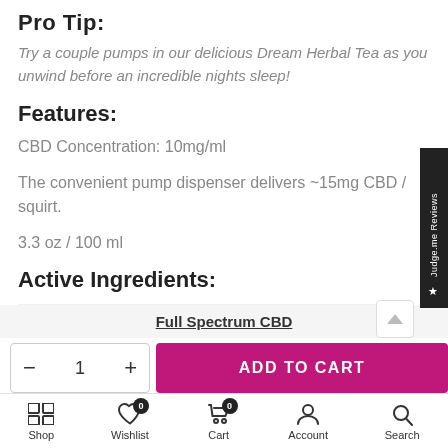Pro Tip:
Try a couple pumps in our delicious Dream Herbal Tea as you unwind before an incredible nights sleep!
Features:
CBD Concentration: 10mg/ml
The convenient pump dispenser delivers ~15mg CBD / squirt.
3.3 oz / 100 ml
Active Ingredients:
Full Spectrum CBD
Shop  Wishlist  Cart  Account  Search